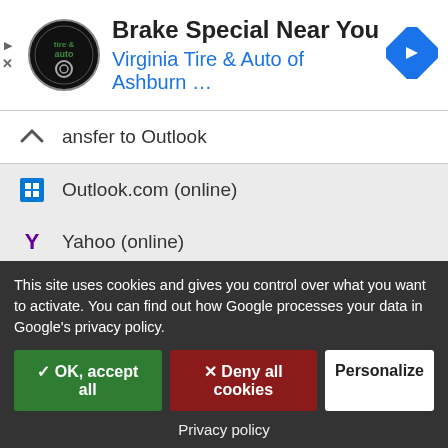[Figure (screenshot): Ad banner for Virginia Tire & Auto of Ashburn with logo, title 'Brake Special Near You', and a blue diamond navigation arrow icon]
ansfer to Outlook
Outlook.com (online)
Yahoo (online)
Add to watchlist
Reminder by email
< 1000 interested persons
Fair organizer
This site uses cookies and gives you control over what you want to activate. You can find out how Google processes your data in Google's privacy policy.
✓ OK, accept all   ✕ Deny all cookies   Personalize
Privacy policy